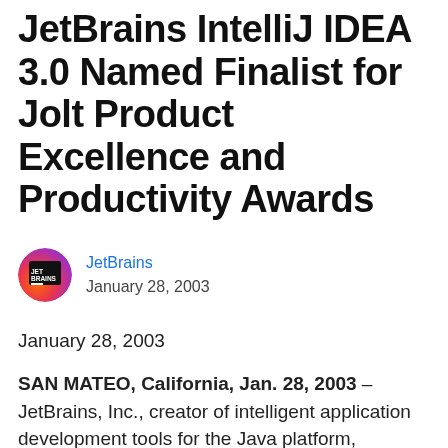JetBrains IntelliJ IDEA 3.0 Named Finalist for Jolt Product Excellence and Productivity Awards
JetBrains
January 28, 2003
January 28, 2003
SAN MATEO, California, Jan. 28, 2003 – JetBrains, Inc., creator of intelligent application development tools for the Java platform, announced today that for the